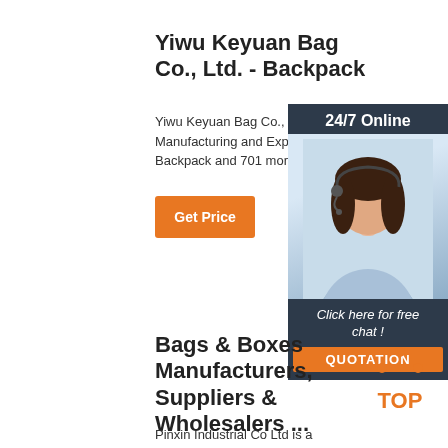Yiwu Keyuan Bag Co., Ltd. - Backpack
Yiwu Keyuan Bag Co., Ltd., B... Manufacturing and Exporting Backpack and 701 more Prod...
[Figure (screenshot): Orange Get Price button]
[Figure (infographic): 24/7 Online chat advertisement box with woman wearing headset, dark navy background, orange quotation button, text: Click here for free chat! QUOTATION]
Bags & Boxes Manufacturers, Suppliers & Wholesalers ...
Pinxin Industrial Co Ltd is a
[Figure (logo): TOP logo with orange dots arranged in triangle shape above orange text TOP]